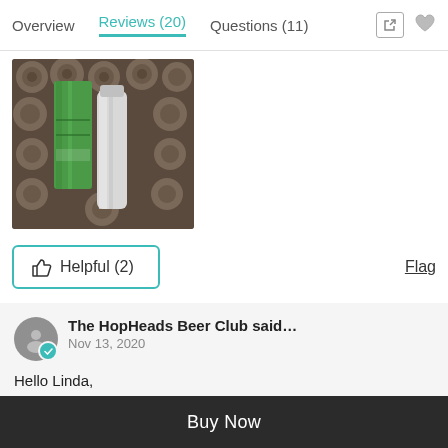Overview | Reviews (20) | Questions (11)
[Figure (photo): Product photo showing a green beer can and a silver/white bottle against a dark background of round objects (beer caps or hops)]
Helpful (2)  |  Flag
The HopHeads Beer Club said…
Nov 13, 2020
Hello Linda,
Thank you for your feedback!   We apologize that your experience did not start out as expected.  At the Hop Heads Beer Club we work hard to bring you the very best beer we can find every month along with excellent
Buy Now